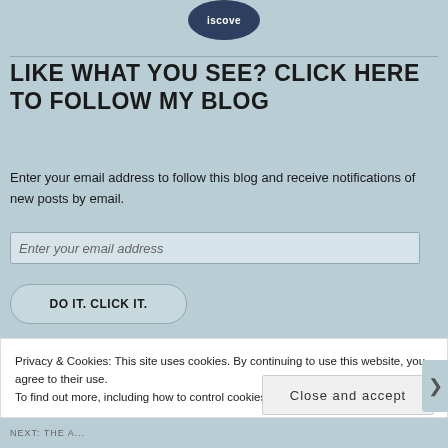[Figure (logo): Partial circular logo with text 'iscove' visible on dark navy background at top center]
LIKE WHAT YOU SEE? CLICK HERE TO FOLLOW MY BLOG
Enter your email address to follow this blog and receive notifications of new posts by email.
Enter your email address
DO IT. CLICK IT.
Privacy & Cookies: This site uses cookies. By continuing to use this website, you agree to their use.
To find out more, including how to control cookies, see here: Cookie Policy
Close and accept